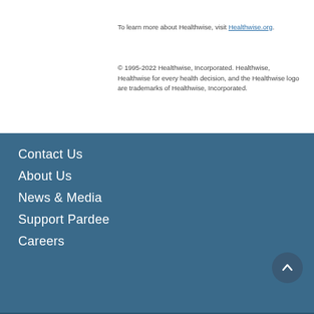To learn more about Healthwise, visit Healthwise.org.
© 1995-2022 Healthwise, Incorporated. Healthwise, Healthwise for every health decision, and the Healthwise logo are trademarks of Healthwise, Incorporated.
Contact Us
About Us
News & Media
Support Pardee
Careers